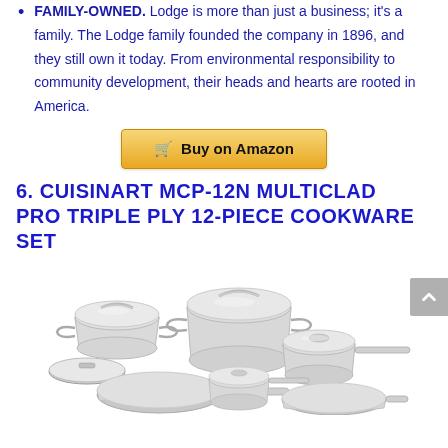FAMILY-OWNED. Lodge is more than just a business; it's a family. The Lodge family founded the company in 1896, and they still own it today. From environmental responsibility to community development, their heads and hearts are rooted in America.
Buy on Amazon
6. CUISINART MCP-12N MULTICLAD PRO TRIPLE PLY 12-PIECE COOKWARE SET
[Figure (photo): Photo of Cuisinart MCP-12N MultiClad Pro Triple Ply 12-piece stainless steel cookware set arranged on a white background, showing various pots, pans, and lids.]